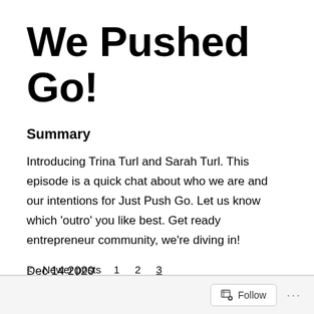We Pushed Go!
Summary
Introducing Trina Turl and Sarah Turl. This episode is a quick chat about who we are and our intentions for Just Push Go. Let us know which ‘outro’ you like best. Get ready entrepreneur community, we’re diving in!
Dec 14 2020
< Newer posts  1  2  3